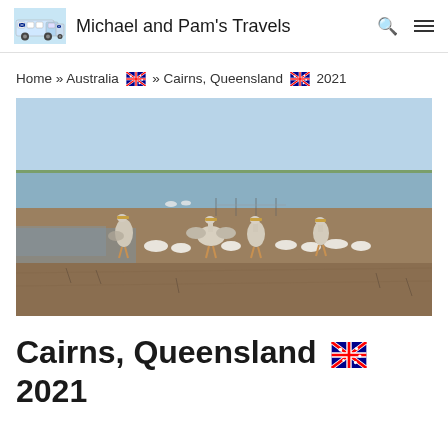Michael and Pam's Travels
Home » Australia 🇦🇺 » Cairns, Queensland 🇦🇺 2021
[Figure (photo): Pelicans and other large white birds resting on a flat muddy tidal flat or sandbar, with water in the background and a pale blue sky. Several pelicans are standing while others rest on the ground.]
Cairns, Queensland 🇦🇺
2021